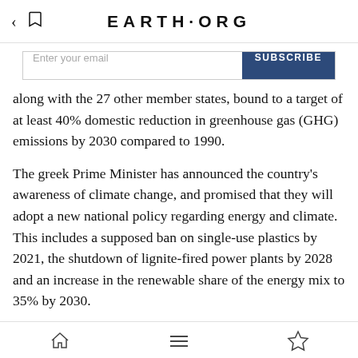EARTH·ORG
Enter your email
along with the 27 other member states, bound to a target of at least 40% domestic reduction in greenhouse gas (GHG) emissions by 2030 compared to 1990.
The greek Prime Minister has announced the country's awareness of climate change, and promised that they will adopt a new national policy regarding energy and climate. This includes a supposed ban on single-use plastics by 2021, the shutdown of lignite-fired power plants by 2028 and an increase in the renewable share of the energy mix to 35% by 2030.
Greece actually surpassed its 2020 targets and is aiming for net zero by 2050. To this end it adopted a National Energy and
home | menu | bookmark